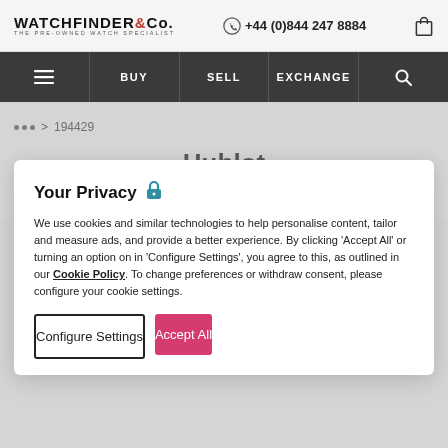WATCHFINDER & Co. THE PRE-OWNED WATCH SPECIALIST | +44 (0)844 247 8884
BUY | SELL | EXCHANGE
... > 194429
Hublot
Classic Fusion
516 NX 1470 LR
Your Privacy
We use cookies and similar technologies to help personalise content, tailor and measure ads, and provide a better experience. By clicking 'Accept All' or turning an option on in 'Configure Settings', you agree to this, as outlined in our Cookie Policy. To change preferences or withdraw consent, please configure your cookie settings.
Configure Settings
Accept All